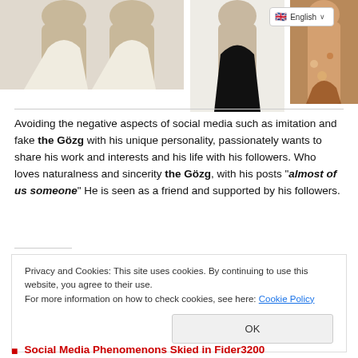[Figure (photo): Three swimsuit product photos showing women in high-waist swimwear: left shows beige/cream swimsuit bottom, center shows black swimsuit bottom, right shows orange/brown patterned bikini.]
Avoiding the negative aspects of social media such as imitation and fake the Gözg with his unique personality, passionately wants to share his work and interests and his life with his followers. Who loves naturalness and sincerity the Gözg, with his posts "almost of us someone" He is seen as a friend and supported by his followers.
Privacy and Cookies: This site uses cookies. By continuing to use this website, you agree to their use.
For more information on how to check cookies, see here: Cookie Policy
Social Media Phenomenons Skied in Fider3200